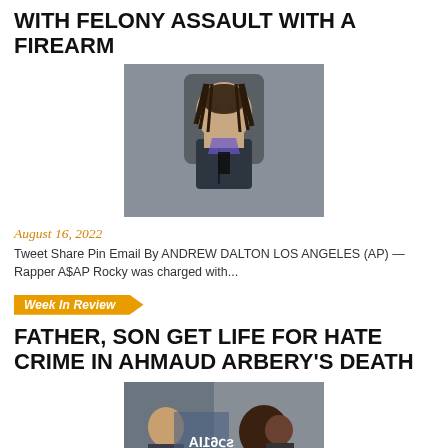WITH FELONY ASSAULT WITH A FIREARM
[Figure (photo): Photo of rapper A$AP Rocky in a suit with a patterned tie against a gray background]
August 16, 2022
Tweet Share Pin Email By ANDREW DALTON LOS ANGELES (AP) — Rapper A$AP Rocky was charged with...
Week In Review
FATHER, SON GET LIFE FOR HATE CRIME IN AHMAUD ARBERY'S DEATH
[Figure (photo): Photo from Ahmaud Arbery case showing protesters and individuals at a courtroom or rally scene]
August 12, 2022